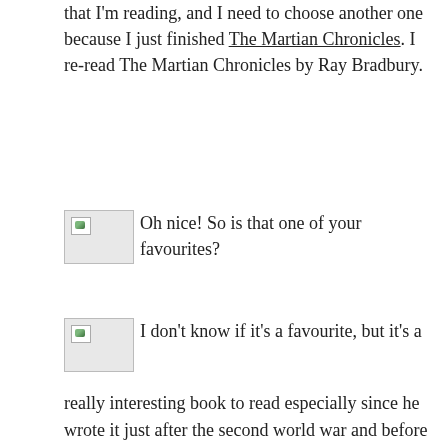that I'm reading, and I need to choose another one because I just finished The Martian Chronicles. I re-read The Martian Chronicles by Ray Bradbury.
Oh nice! So is that one of your favourites?
I don't know if it's a favourite, but it's a really interesting book to read especially since he wrote it just after the second world war and before Sputnik (which he pronounced like spootnik) so it was a really interesting time to write about the idea of space travel and what it might mean to us both from a discovery point of view but also a self-discovery point of view. It was fun to read and I enjoyed reading it again. And I just read another Gerald Seymour, he writes beautifully complex plots and I